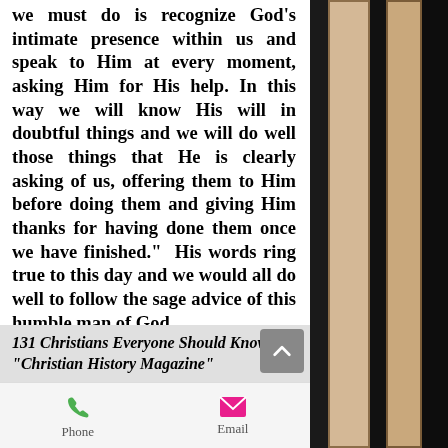we must do is recognize God's intimate presence within us and speak to Him at every moment, asking Him for His help. In this way we will know His will in doubtful things and we will do well those things that He is clearly asking of us, offering them to Him before doing them and giving Him thanks for having done them once we have finished."  His words ring true to this day and we would all do well to follow the sage advice of this humble man of God.
- Pastor Darbyshire (January 2018)
[Figure (photo): Photo strip of book spines on the right side of the page]
131 Christians Everyone Should Know "Christian History Magazine"
[Figure (infographic): Mobile UI bar with Phone and Email action buttons]